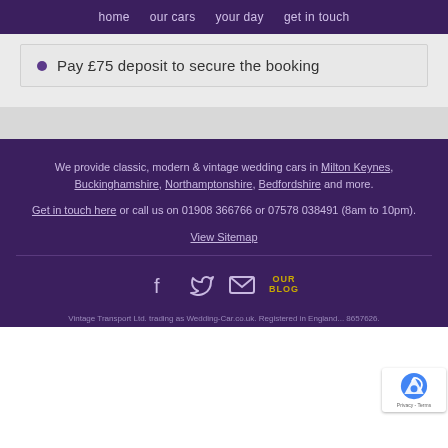home | our cars | your day | get in touch
Pay £75 deposit to secure the booking
We provide classic, modern & vintage wedding cars in Milton Keynes, Buckinghamshire, Northamptonshire, Bedfordshire and more.
Get in touch here or call us on 01908 366766 or 07578 038491 (8am to 10pm).
View Sitemap
Vintage Transport Ltd. trading as Wedding-Car.co.uk. Registered in England... 8657626.